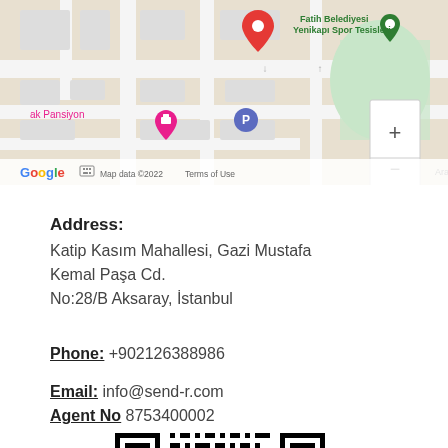[Figure (map): Google Maps screenshot showing a street map of Aksaray/Fatih area in Istanbul, with a red pin marker, pink hotel pin (ak Pansiyon), blue parking pin, green Google Maps location pin labeled 'Fatih Belediyesi Yenikapu Spor Tesisleri', zoom controls, and footer reading 'Google  Map data ©2022  Terms of Use  Araç Giriş']
Address:
Katip Kasım Mahallesi, Gazi Mustafa Kemal Paşa Cd.
No:28/B Aksaray, İstanbul
Phone: +902126388986
Email: info@send-r.com
Agent No 8753400002
[Figure (other): QR code image at the bottom of the page]